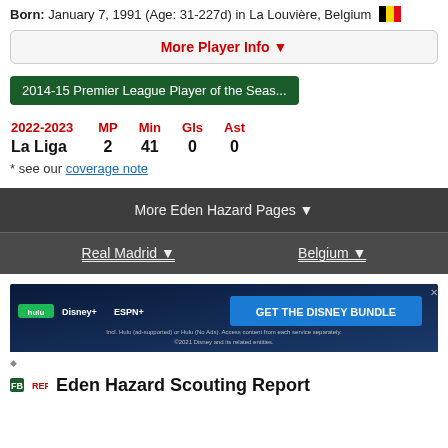Born: January 7, 1991 (Age: 31-227d) in La Louvière, Belgium
More Player Info ▼
2014-15 Premier League Player of the Seas...
| 2022-2023 | MP | Min | Gls | Ast |
| --- | --- | --- | --- | --- |
| La Liga | 2 | 41 | 0 | 0 |
* see our coverage note
More Eden Hazard Pages ▼
Real Madrid ▼
Belgium ▼
[Figure (other): GET THE DISNEY BUNDLE advertisement banner with Hulu, Disney+, ESPN+ logos]
Eden Hazard Scouting Report